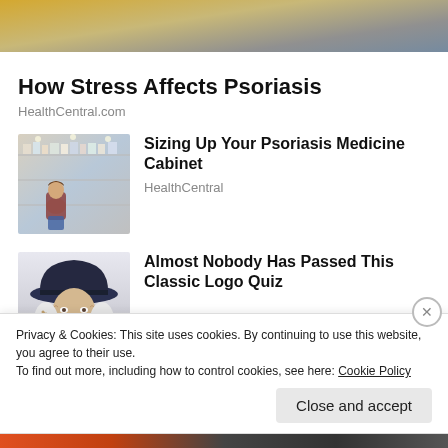[Figure (photo): Partial top image of a person in yellow/orange, cropped at top of page]
How Stress Affects Psoriasis
HealthCentral.com
[Figure (photo): Woman crouching in a store aisle looking at products on shelves]
Sizing Up Your Psoriasis Medicine Cabinet
HealthCentral
[Figure (photo): Older man wearing a wide-brimmed dark cowboy hat, white hair]
Almost Nobody Has Passed This Classic Logo Quiz
Privacy & Cookies: This site uses cookies. By continuing to use this website, you agree to their use.
To find out more, including how to control cookies, see here: Cookie Policy
Close and accept